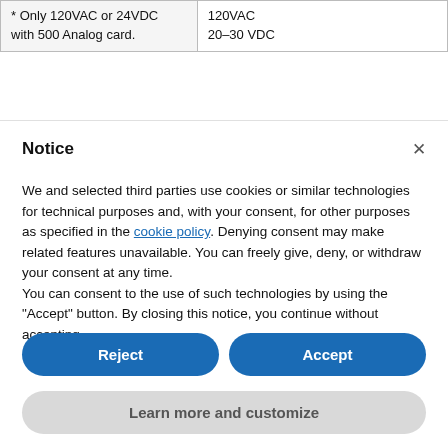| * Only 120VAC or 24VDC with 500 Analog card. | 120VAC
20–30 VDC |
Notice
We and selected third parties use cookies or similar technologies for technical purposes and, with your consent, for other purposes as specified in the cookie policy. Denying consent may make related features unavailable. You can freely give, deny, or withdraw your consent at any time.
You can consent to the use of such technologies by using the "Accept" button. By closing this notice, you continue without accepting.